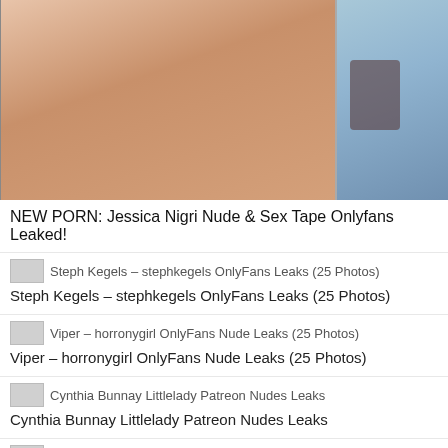[Figure (photo): Cropped photo collage showing partial body images against light blue/purple background]
NEW PORN: Jessica Nigri Nude & Sex Tape Onlyfans Leaked!
Steph Kegels – stephkegels OnlyFans Leaks (25 Photos)
Viper – horronygirl OnlyFans Nude Leaks (25 Photos)
Cynthia Bunnay Littlelady Patreon Nudes Leaks
igot2dogss Onlyfans Nudes Leaks (114 photos + 4 videos)